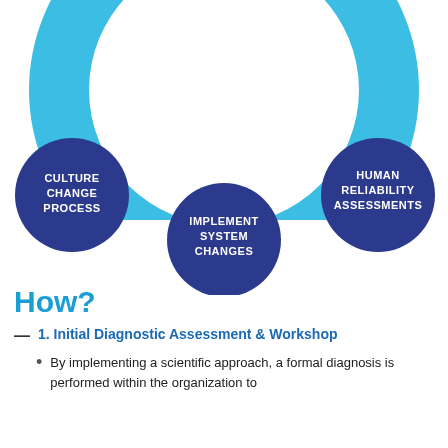[Figure (infographic): Circular process diagram with a large light blue donut/ring arc at the top. Three dark navy blue circles are positioned on the ring: 'CULTURE CHANGE PROCESS' on the left, 'HUMAN RELIABILITY ASSESSMENTS' on the right, and 'IMPLEMENT SYSTEM CHANGES' at the bottom center.]
How?
1. Initial Diagnostic Assessment & Workshop
By implementing a scientific approach, a formal diagnosis is performed within the organization to